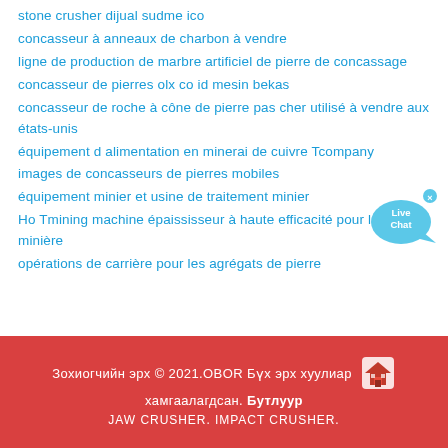stone crusher dijual sudme ico
concasseur à anneaux de charbon à vendre
ligne de production de marbre artificiel de pierre de concassage
concasseur de pierres olx co id mesin bekas
concasseur de roche à cône de pierre pas cher utilisé à vendre aux états-unis
équipement d alimentation en minerai de cuivre Tcompany
images de concasseurs de pierres mobiles
équipement minier et usine de traitement minier
Ho Tmining machine épaississeur à haute efficacité pour l usine minière
opérations de carrière pour les agrégats de pierre
Зохиогчийн эрх © 2021.OBOR Бүх эрх хуулиар хамгаалагдсан. Бутлуур JAW CRUSHER. IMPACT CRUSHER.